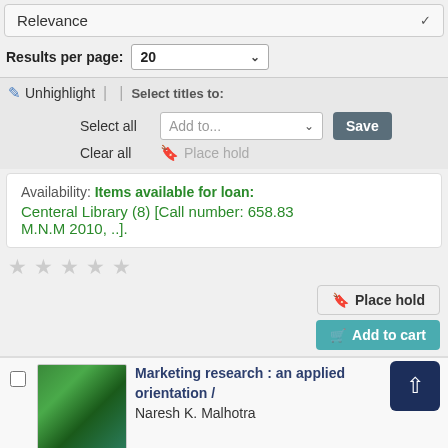Relevance
Results per page: 20
✏ Unhighlight | | Select titles to:
Select all   Add to...   Save
Clear all   🔖 Place hold
Availability: Items available for loan: Centeral Library (8) [Call number: 658.83 M.N.M 2010, ..].
[Figure (other): Five empty star rating icons]
🔖 Place hold
🛒 Add to cart
[Figure (photo): Book cover thumbnail with green background]
Marketing research : an applied orientation / Naresh K. Malhotra